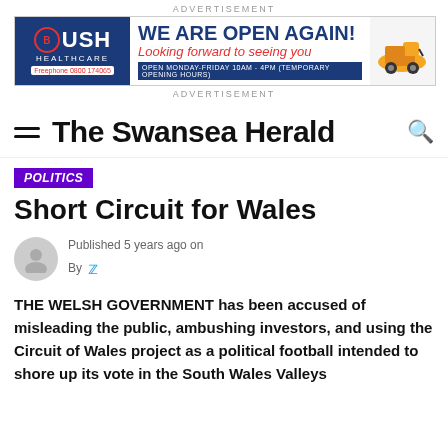ADVERTISEMENT
[Figure (photo): Bush Healthcare advertisement banner: 'WE ARE OPEN AGAIN! Looking forward to seeing you. Open Monday-Friday 10am-4pm (temporary opening hours)']
ADVERTISEMENT
The Swansea Herald
POLITICS
Short Circuit for Wales
Published 5 years ago on
By
THE WELSH GOVERNMENT has been accused of misleading the public, ambushing investors, and using the Circuit of Wales project as a political football intended to shore up its vote in the South Wales Valleys